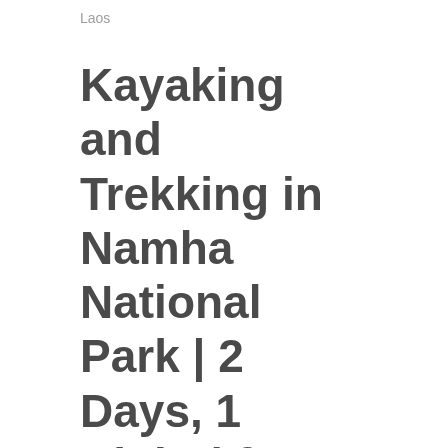Laos
Kayaking and Trekking in Namha National Park | 2 Days, 1 Night | from